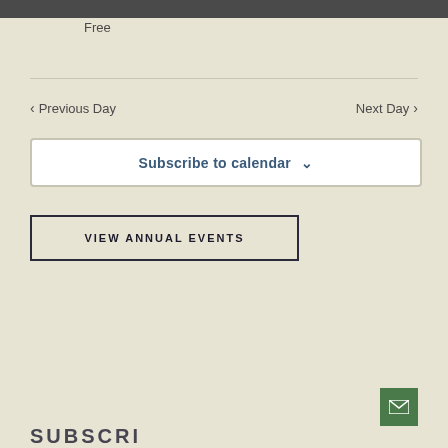Free
< Previous Day
Next Day >
Subscribe to calendar ∨
VIEW ANNUAL EVENTS
[Figure (other): Green email/envelope button in bottom right corner]
SUBSCRI...